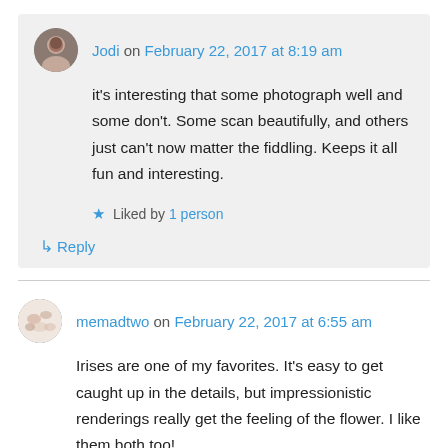Jodi on February 22, 2017 at 8:19 am
it's interesting that some photograph well and some don't. Some scan beautifully, and others just can't now matter the fiddling. Keeps it all fun and interesting.
Liked by 1 person
Reply
memadtwo on February 22, 2017 at 6:55 am
Irises are one of my favorites. It's easy to get caught up in the details, but impressionistic renderings really get the feeling of the flower. I like them both too!